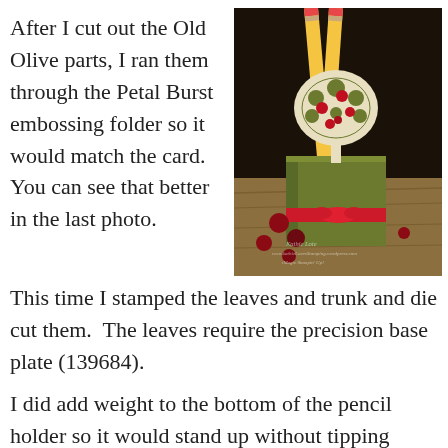After I cut out the Old Olive parts, I ran them through the Petal Burst embossing folder so it would match the card.  You can see that better in the last photo.
[Figure (photo): Photo of a green olive-colored pencil holder box decorated with a die-cut tree with red apples and a red ribbon, holding two yellow pencils, on a wooden surface with red candies/marbles around it. Watermark visible: Kathie Lote, www.kathieLovesStampingWordpress.com, iMagic Stampin Up!]
This time I stamped the leaves and trunk and die cut them.  The leaves require the precision base plate (139684).
I did add weight to the bottom of the pencil holder so it would stand up without tipping under the weight